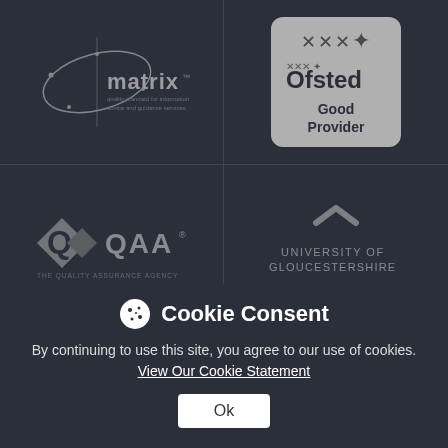[Figure (logo): Matrix quality standard for information advice and guidance services logo]
[Figure (logo): Ofsted Good Provider badge]
[Figure (logo): QAA logo]
[Figure (logo): University of Gloucestershire logo]
Cookie Consent
By continuing to use this site, you agree to our use of cookies. View Our Cookie Statement
Ok